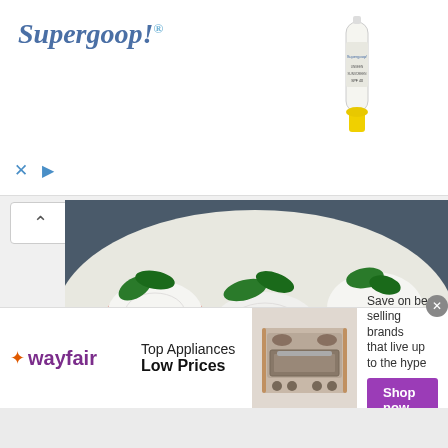[Figure (photo): Supergoop! advertisement banner with brand logo on left and product image (sunscreen tube) on right]
[Figure (photo): Caprese salad with fresh mozzarella, tomatoes, and basil leaves on a white plate, close-up food photo]
Caprese Salad with Olives
[Figure (photo): Caprese salad with cherry tomatoes, mozzarella cubes, and basil leaves in a white bowl, food photo with infolinks badge overlay]
[Figure (photo): Wayfair advertisement banner showing top appliances at low prices with stove image and Shop now button]